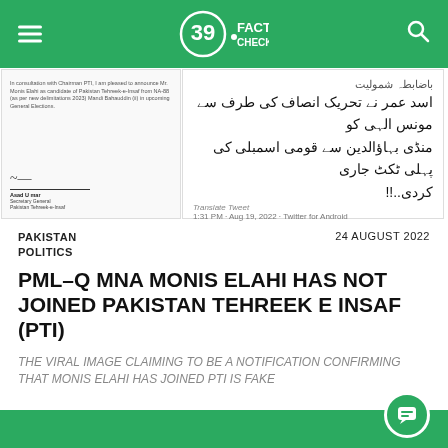Sach Fact Check
[Figure (screenshot): Left: Official PTI letter/notification with signature. Right: Urdu tweet screenshot with text stating Asad Umar has issued first NA ticket from Mandi Bahauddin for Monis Elahi from PTI side. Timestamp: 1:31 PM · Aug 19, 2022 · Twitter for Android]
PAKISTAN POLITICS
24 AUGUST 2022
PML-Q MNA MONIS ELAHI HAS NOT JOINED PAKISTAN TEHREEK E INSAF (PTI)
THE VIRAL IMAGE CLAIMING TO BE A NOTIFICATION CONFIRMING THAT MONIS ELAHI HAS JOINED PTI IS FAKE